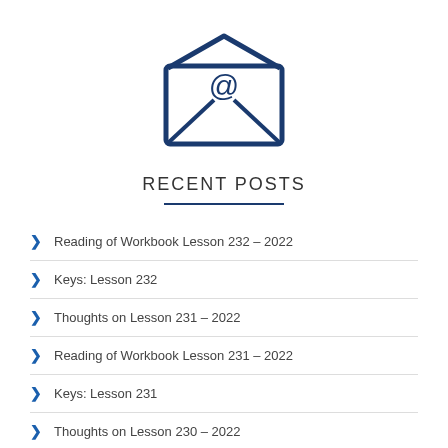[Figure (illustration): Open envelope icon with an @ symbol inside, drawn in dark navy blue outline style]
RECENT POSTS
Reading of Workbook Lesson 232 – 2022
Keys: Lesson 232
Thoughts on Lesson 231 – 2022
Reading of Workbook Lesson 231 – 2022
Keys: Lesson 231
Thoughts on Lesson 230 – 2022
Reading of Workbook Lesson 230 – 2022